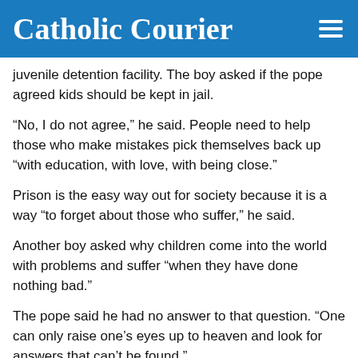Catholic Courier
juvenile detention facility. The boy asked if the pope agreed kids should be kept in jail.
“No, I do not agree,” he said. People need to help those who make mistakes pick themselves back up “with education, with love, with being close.”
Prison is the easy way out for society because it is a way “to forget about those who suffer,” he said.
Another boy asked why children come into the world with problems and suffer “when they have done nothing bad.”
The pope said he had no answer to that question. “One can only raise one’s eyes up to heaven and look for answers that can’t be found.”
However, people can do something by making sure society offers the needed medical support and by being close to them, he said.